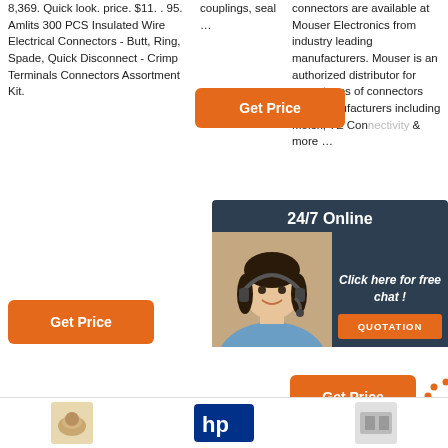8,369. Quick look. price. $11. . 95. Amlits 300 PCS Insulated Wire Electrical Connectors - Butt, Ring, Spade, Quick Disconnect - Crimp Terminals Connectors Assortment Kit.
couplings, seal …
connectors are available at Mouser Electronics from industry leading manufacturers. Mouser is an authorized distributor for many types of connectors from manufacturers including Molex, TE Connectivity & more …
[Figure (screenshot): Orange Get Price button (top, center column)]
[Figure (screenshot): 24/7 Online chat widget overlay with customer service representative photo, 'Click here for free chat!' text, and orange QUOTATION button]
[Figure (screenshot): Orange Get Price button (left column, lower)]
[Figure (screenshot): Orange Get Price button with orange TOP icon/button]
[Figure (screenshot): Bottom bar with product thumbnail images and HP logo]